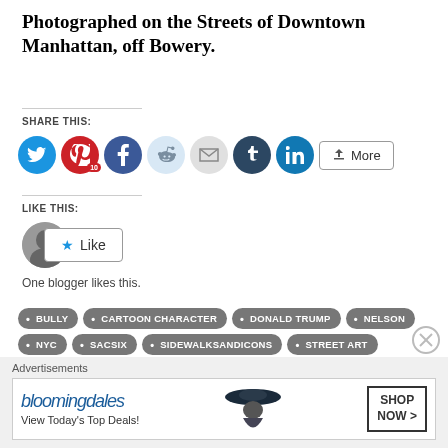Photographed on the Streets of Downtown Manhattan, off Bowery.
SHARE THIS:
[Figure (infographic): Social share buttons: Twitter (blue), Pinterest (red with 10 badge), Facebook (blue), Reddit (light blue), Email (grey), Tumblr (dark blue), LinkedIn (blue), More button]
LIKE THIS:
[Figure (infographic): Like button with star icon and blogger avatar circle]
One blogger likes this.
BULLY
CARTOON CHARACTER
DONALD TRUMP
NELSON
NYC
SACSIX
SIDEWALKSANDICONS
STREET ART
THE SIMPSONS
Advertisements
[Figure (infographic): Bloomingdales advertisement banner: bloomingdales logo, View Today's Top Deals!, SHOP NOW > button, woman with hat image]